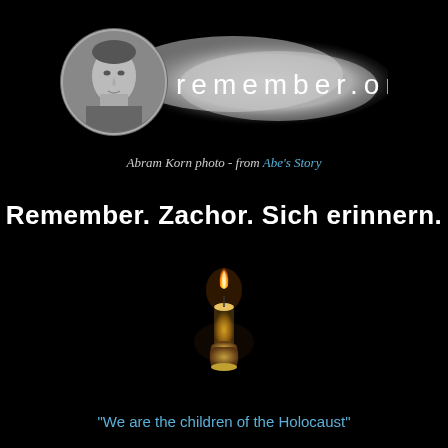[Figure (photo): Circular black-and-white portrait photo of Abram Korn, a young man in a suit, overlaid on a smoky remember.org logo banner with white text on a grey cloud background]
Abram Korn photo - from Abe's Story
Remember. Zachor. Sich erinnern.
[Figure (photo): A single lit candle with a warm orange flame against a black background, placed on a small holder]
"We are the children of the Holocaust"